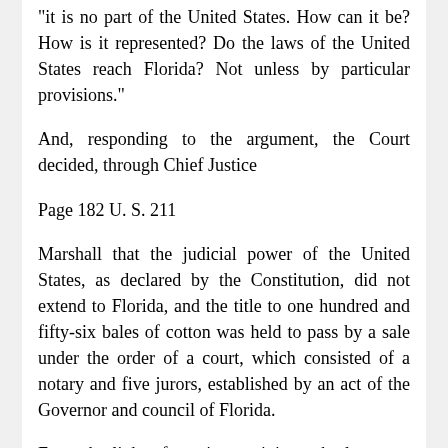"it is no part of the United States. How can it be? How is it represented? Do the laws of the United States reach Florida? Not unless by particular provisions."
And, responding to the argument, the Court decided, through Chief Justice
Page 182 U. S. 211
Marshall that the judicial power of the United States, as declared by the Constitution, did not extend to Florida, and the title to one hundred and fifty-six bales of cotton was held to pass by a sale under the order of a court, which consisted of a notary and five jurors, established by an act of the Governor and council of Florida.
From the light of previous opinions, the language of Mr. Justice Wayne in Cross v. Harrison receives explanation. The treaty with Mexico, following the war, defined the "boundaries of the United States," and made the